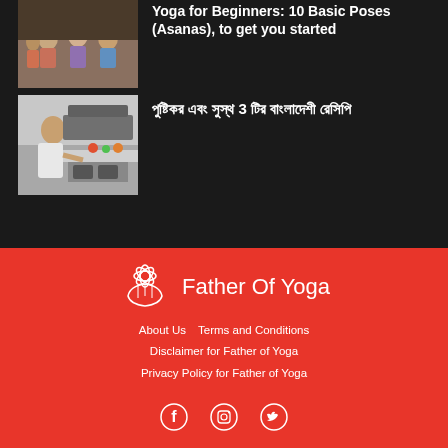[Figure (photo): Group of people sitting in yoga meditation pose]
Yoga for Beginners: 10 Basic Poses (Asanas), to get you started
[Figure (photo): Person cooking in kitchen]
পুষ্টিকর এবং সুস্থ 3 টির বাংলাদেশী রেসিপি
[Figure (logo): Father of Yoga lotus flower logo with hand]
Father Of Yoga
About Us   Terms and Conditions   Disclaimer for Father of Yoga   Privacy Policy for Father of Yoga